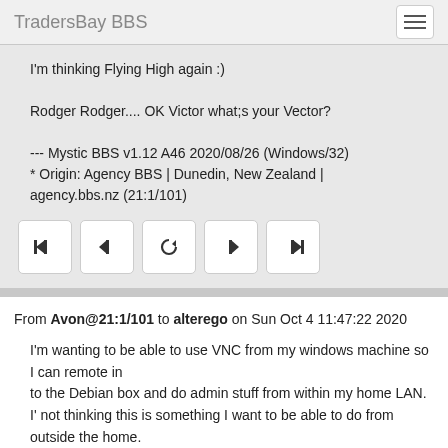TradersBay BBS
I'm thinking Flying High again :)

Rodger Rodger.... OK Victor what;s your Vector?

--- Mystic BBS v1.12 A46 2020/08/26 (Windows/32)
* Origin: Agency BBS | Dunedin, New Zealand | agency.bbs.nz (21:1/101)
From Avon@21:1/101 to alterego on Sun Oct 4 11:47:22 2020
I'm wanting to be able to use VNC from my windows machine so I can remote in
to the Debian box and do admin stuff from within my home LAN. I' not thinking this is something I want to be able to do from outside the home.